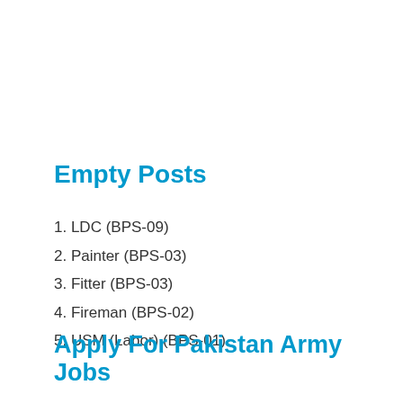Empty Posts
1. LDC (BPS-09)
2. Painter (BPS-03)
3. Fitter (BPS-03)
4. Fireman (BPS-02)
5. USM (Labor) (BPS-01)
Apply For Pakistan Army Jobs